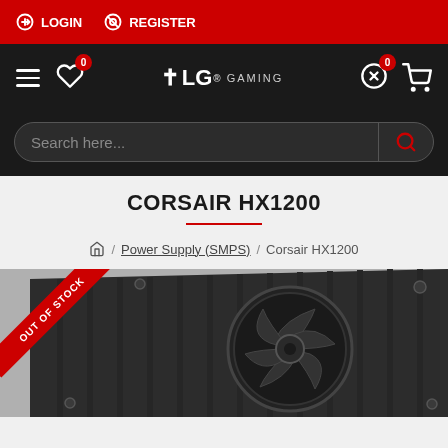LOGIN  REGISTER
TLG GAMING — Navigation bar with hamburger, wishlist, logo, compare, cart
Search here...
CORSAIR HX1200
Home / Power Supply (SMPS) / Corsair HX1200
[Figure (photo): Corsair HX1200 power supply unit, top-down angled view showing fan grille, dark/black finish, with an OUT OF STOCK red diagonal ribbon banner in top-left corner.]